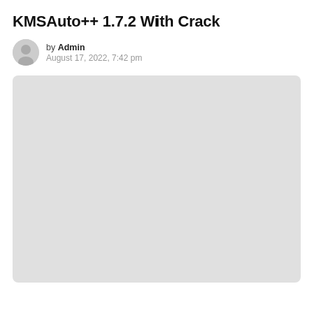KMSAuto++ 1.7.2 With Crack
by Admin
August 17, 2022, 7:42 pm
[Figure (other): Large light gray rectangular placeholder image area with rounded corners]